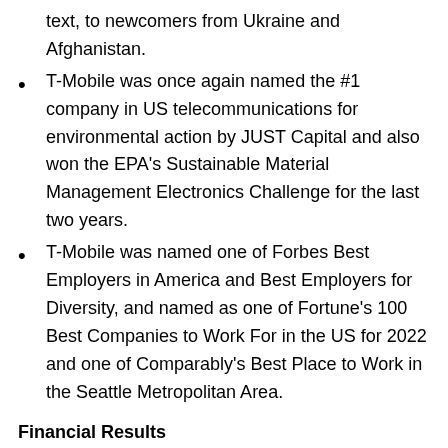text, to newcomers from Ukraine and Afghanistan.
T-Mobile was once again named the #1 company in US telecommunications for environmental action by JUST Capital and also won the EPA's Sustainable Material Management Electronics Challenge for the last two years.
T-Mobile was named one of Forbes Best Employers in America and Best Employers for Diversity, and named as one of Fortune's 100 Best Companies to Work For in the US for 2022 and one of Comparably's Best Place to Work in the Seattle Metropolitan Area.
Financial Results